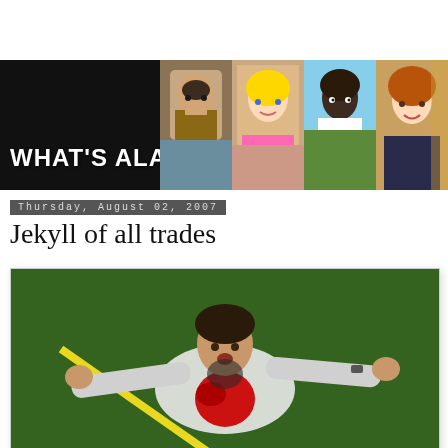[Figure (illustration): Blog header banner showing 'WHAT'S ALAN WATCHING?' title in bold white text on black background with four TV show character photos on the right side]
Thursday, August 02, 2007
Jekyll of all trades
[Figure (photo): A man in a white shirt lying on green grass with arms outstretched, appearing to be wounded with blood on his chest, looking up with an anguished expression. A yellow line is visible in the background.]